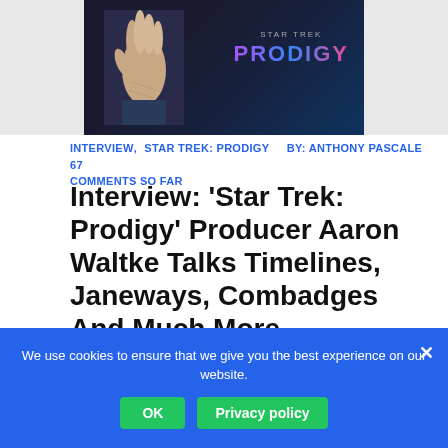[Figure (photo): Star Trek Prodigy promotional image with hand raised and Prodigy logo]
INTERVIEW, STAR TREK: PRODIGY   BY: ANTHONY PASCALE   67 COMMENTS SO FAR
Interview: ‘Star Trek: Prodigy’ Producer Aaron Waltke Talks Timelines, Janeways, Combadges And Much More
[Figure (photo): Aaron Waltke with Nickelodeon Star Trek Prodigy logo]
INTERVIEW, STAR TREK: PRODIGY   BY: ANTHONY PASCALE   29 COMMENTS SO FAR
Interview: Writer/Producer Aaron J. Waltke
We use cookies to ensure that we give you the best experience on our website.